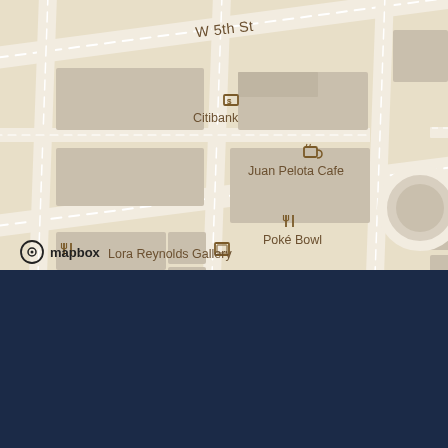[Figure (map): Mapbox street map of downtown Austin, TX area showing W 5th St and W 4th St with landmarks including Citibank, Fixe Southern House, Juan Pelota Cafe, Salt & Time, Poke Bowl, Lora Reynolds Gallery, and Republic (partially visible). Map has beige/tan color scheme with dashed white road markings.]
mapbox
[Figure (other): Dark navy blue panel at bottom of page]